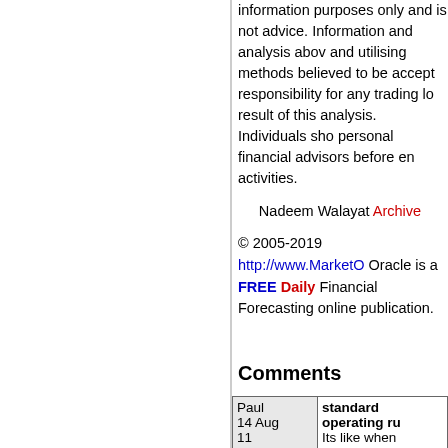information purposes only and is not advice. Information and analysis above and utilising methods believed to be accept responsibility for any trading loss result of this analysis. Individuals should personal financial advisors before engaging activities.
Nadeem Walayat Archive
© 2005-2019 http://www.MarketOracle Oracle is a FREE Daily Financial Markets Forecasting online publication.
Comments
|  |  |
| --- | --- |
| Paul
14 Aug
11 | standard operating ru...
Its like when provoked...
demonstrations against... |